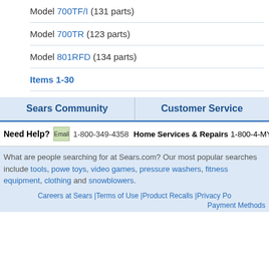Model 700TF/I (131 parts)
Model 700TR (123 parts)
Model 801RFD (134 parts)
Items 1-30
Sears Community
Customer Service
Need Help? Email 1-800-349-4358 Home Services & Repairs 1-800-4-MY-HOM
What are people searching for at Sears.com? Our most popular searches include tools, power toys, video games, pressure washers, fitness equipment, clothing and snowblowers.
Careers at Sears |Terms of Use |Product Recalls |Privacy Po... Payment Methods